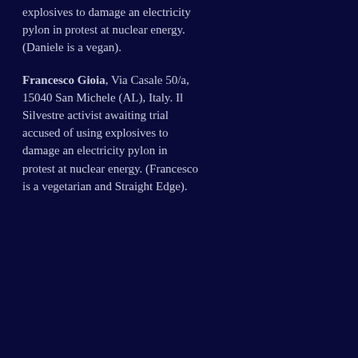explosives to damage an electricity pylon in protest at nuclear energy. (Daniele is a vegan).
Francesco Gioia, Via Casale 50/a, 15040 San Michele (AL), Italy. Il Silvestre activist awaiting trial accused of using explosives to damage an electricity pylon in protest at nuclear energy. (Francesco is a vegetarian and Straight Edge).